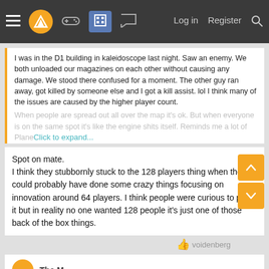Navigation bar with menu, logo, controller, building, chat icons and Log in, Register, Search links
I was in the D1 building in kaleidoscope last night. Saw an enemy. We both unloaded our magazines on each other without causing any damage. We stood there confused for a moment. The other guy ran away, got killed by someone else and I got a kill assist. lol I think many of the issues are caused by the higher player count. When people are spread out all over the map it's ok. But when everyone is on the same spot it's like the engine shits itself. Reminds me a lot of Planetside 2...
Click to expand...
Spot on mate.
I think they stubbornly stuck to the 128 players thing when they could probably have done some crazy things focusing on innovation around 64 players. I think people were curious to play it but in reality no one wanted 128 people it's just one of those back of the box things.
voidenberg